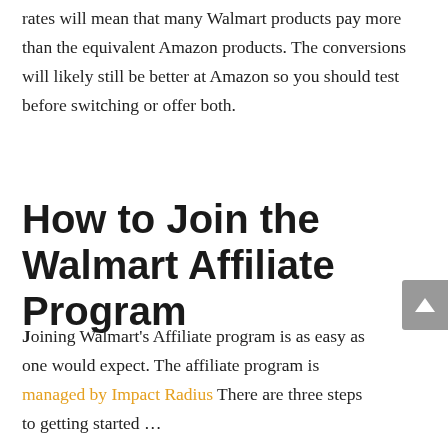rates will mean that many Walmart products pay more than the equivalent Amazon products. The conversions will likely still be better at Amazon so you should test before switching or offer both.
How to Join the Walmart Affiliate Program
Joining Walmart's Affiliate program is as easy as one would expect. The affiliate program is managed by Impact Radius There are three steps to getting started …